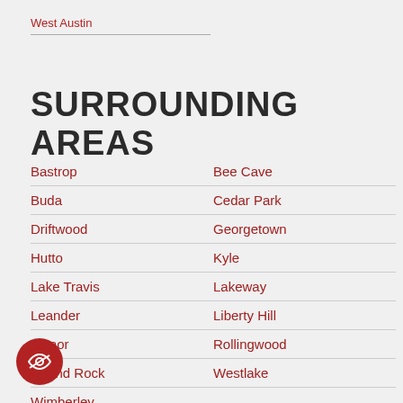West Austin
SURROUNDING AREAS
Bastrop | Bee Cave
Buda | Cedar Park
Driftwood | Georgetown
Hutto | Kyle
Lake Travis | Lakeway
Leander | Liberty Hill
Manor | Rollingwood
Round Rock | Westlake
Wimberley